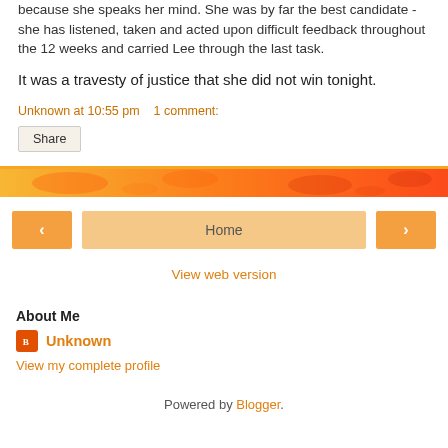because she speaks her mind. She was by far the best candidate - she has listened, taken and acted upon difficult feedback throughout the 12 weeks and carried Lee through the last task.
It was a travesty of justice that she did not win tonight.
Unknown at 10:55 pm    1 comment:
Share
Home
View web version
About Me
Unknown
View my complete profile
Powered by Blogger.